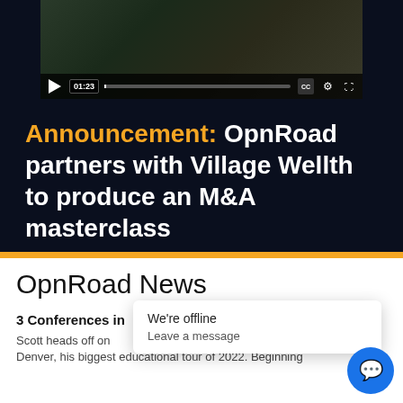[Figure (screenshot): Video player showing a paused video at timestamp 01:23, with playback controls including CC, settings gear, and expand icons, over a dark nature background.]
Announcement: OpnRoad partners with Village Wellth to produce an M&A masterclass
OpnRoad News
3 Conferences in                                             To
Scott heads off on                                         ew
Denver, his biggest educational tour of 2022. Beginning
We're offline
Leave a message